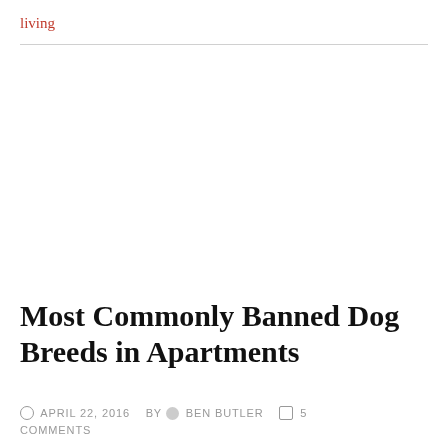living
Most Commonly Banned Dog Breeds in Apartments
APRIL 22, 2016  BY  BEN BUTLER  5 COMMENTS